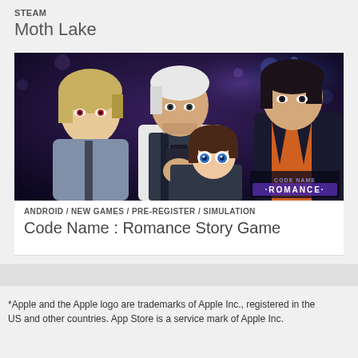STEAM
Moth Lake
[Figure (illustration): Anime-style illustration showing three male characters and one female character. Left: blonde male in grey jacket. Center-back: white-haired older male holding a gun. Right: dark-haired male in dark jacket. Front-center: young brunette female. Bottom-right corner has 'CODE NAME ROMANCE' logo text.]
ANDROID / NEW GAMES / PRE-REGISTER / SIMULATION
Code Name : Romance Story Game
*Apple and the Apple logo are trademarks of Apple Inc., registered in the US and other countries. App Store is a service mark of Apple Inc.